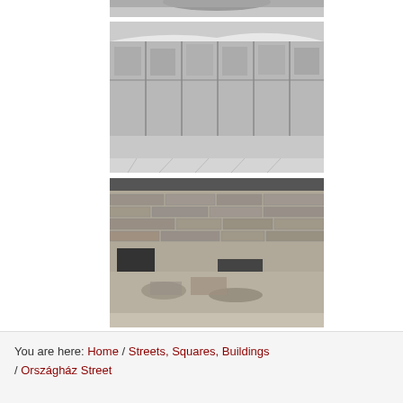[Figure (photo): Black and white photograph showing the top portion of an interior space, partially cropped at the top of the page]
[Figure (photo): Black and white photograph showing an interior wall with frescoes or painted panels in a deteriorated state, with a geometric floor pattern visible at the bottom]
[Figure (photo): Black and white photograph showing stone ruins or archaeological excavation with exposed brick and stone walls]
You are here: Home / Streets, Squares, Buildings / Országház Street